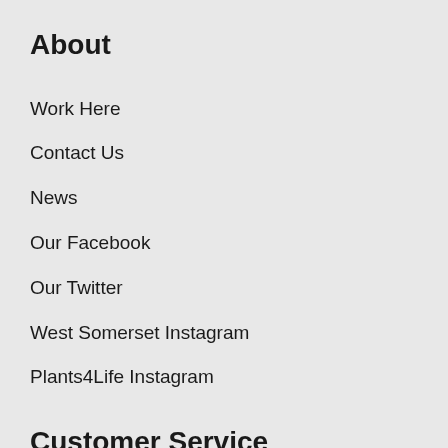About
Work Here
Contact Us
News
Our Facebook
Our Twitter
West Somerset Instagram
Plants4Life Instagram
Customer Service